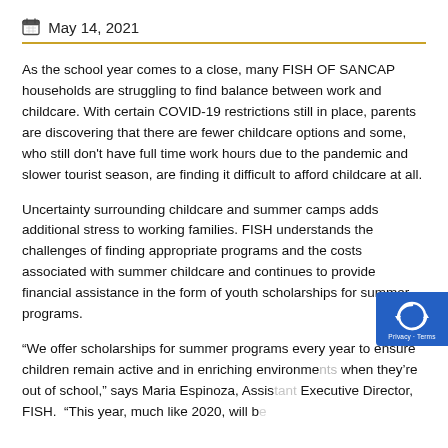May 14, 2021
As the school year comes to a close, many FISH OF SANCAP households are struggling to find balance between work and childcare. With certain COVID-19 restrictions still in place, parents are discovering that there are fewer childcare options and some, who still don't have full time work hours due to the pandemic and slower tourist season, are finding it difficult to afford childcare at all.
Uncertainty surrounding childcare and summer camps adds additional stress to working families. FISH understands the challenges of finding appropriate programs and the costs associated with summer childcare and continues to provide financial assistance in the form of youth scholarships for summer programs.
“We offer scholarships for summer programs every year to ensure children remain active and in enriching environments when they’re out of school,” says Maria Espinoza, Assistant Executive Director, FISH.  “This year, much like 2020, will be